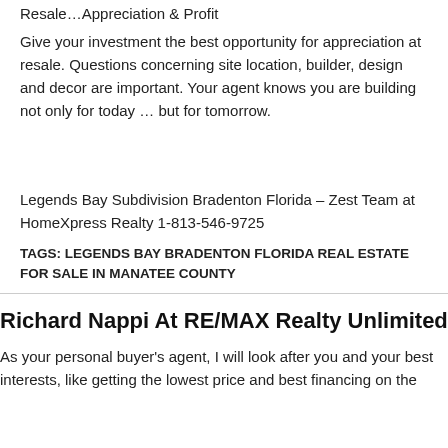Resale…Appreciation & Profit
Give your investment the best opportunity for appreciation at resale. Questions concerning site location, builder, design and decor are important. Your agent knows you are building not only for today … but for tomorrow.
Legends Bay Subdivision Bradenton Florida – Zest Team at HomeXpress Realty 1-813-546-9725
TAGS: LEGENDS BAY BRADENTON FLORIDA REAL ESTATE FOR SALE IN MANATEE COUNTY
Richard Nappi At RE/MAX Realty Unlimited
As your personal buyer's agent, I will look after you and your best interests, like getting the lowest price and best financing on the